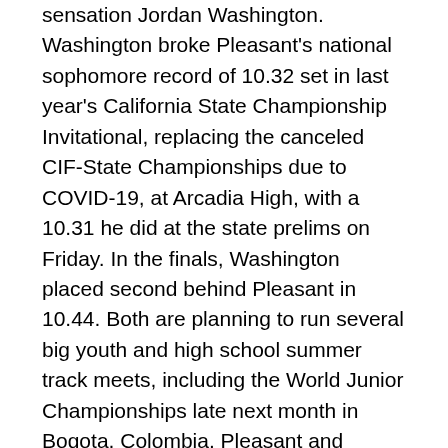sensation Jordan Washington. Washington broke Pleasant's national sophomore record of 10.32 set in last year's California State Championship Invitational, replacing the canceled CIF-State Championships due to COVID-19, at Arcadia High, with a 10.31 he did at the state prelims on Friday. In the finals, Washington placed second behind Pleasant in 10.44. Both are planning to run several big youth and high school summer track meets, including the World Junior Championships late next month in Bogota, Colombia. Pleasant and Washington also play on their football teams. Washington helped Jordan advance to the CIF-Southern Section Division XI championship game before losing last fall. He is looking to get the Panthers, who struggled during the previous several years, to contend with powerful Long Beach Poly for the Moore League crown this fall. With most players back, Serra will seek to possibly play in the CIF-Southern Section Division I and, if the Cavaliers get to the finals, they will play on Nov. 25 at the Rose Bowl in